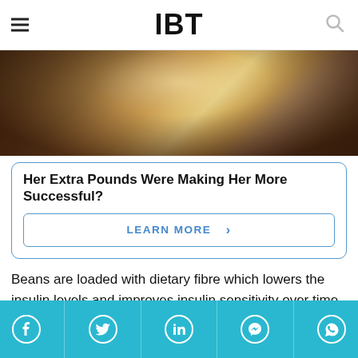IBT
[Figure (photo): Partial photo of a woman with long blonde hair wearing dark fur, cropped at the top of the page]
Her Extra Pounds Were Making Her More Successful?
LEARN MORE ›
Beans are loaded with dietary fibre which lowers the insulin levels and improves insulin sensitivity over time. It, in turn, helps your body to store less fat. It serves as an excellent food for boosting metabolism.
Social share bar: Facebook, Twitter, LinkedIn, Messenger, WhatsApp